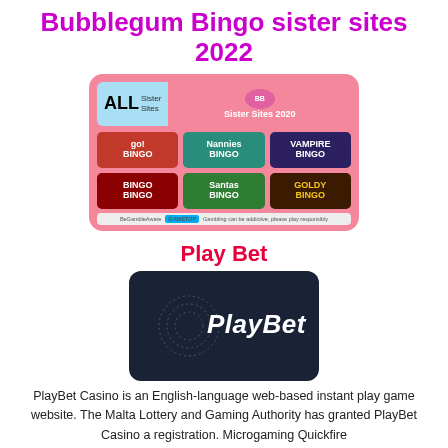Bubblegum Bingo sister sites 2022
[Figure (infographic): Pink card showing Bubblegum Bingo sister sites 2020 with logos: go! Bingo, Nannies Bingo, Vampire Bingo, Bingo (red), Santas Bingo, Goldy Bingo. Includes GamStop and BeGambleAware logos at bottom.]
Play Bet
[Figure (logo): PlayBet logo on dark navy rounded rectangle background]
PlayBet Casino is an English-language web-based instant play game website. The Malta Lottery and Gaming Authority has granted PlayBet Casino a registration. Microgaming Quickfire